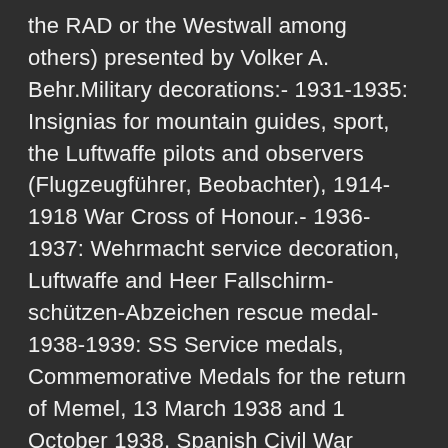the RAD or the Westwall among others) presented by Volker A. Behr.Military decorations:- 1931-1935: Insignias for mountain guides, sport, the Luftwaffe pilots and observers (Flugzeugführer, Beobachter), 1914-1918 War Cross of Honour.- 1936-1937: Wehrmacht service decoration, Luftwaffe and Heer Fallschirm-schützen-Abzeichen rescue medal-1938-1939: SS Service medals, Commemorative Medals for the return of Memel, 13 March 1938 and 1 October 1938, Spanish Civil War decorations, etc.- 1939: Iron Cross, Knight's Cross of the Iron Cross, Wounded Medal, Sub-mariner Insignia, War Merit Cross, Infantry and Panzers combat insignias.- 1940: Ehrenpokal, General Assault Insignia, Narwikschild, War Merit Medal, etc.- 1941: Flak Insignia, Gold German